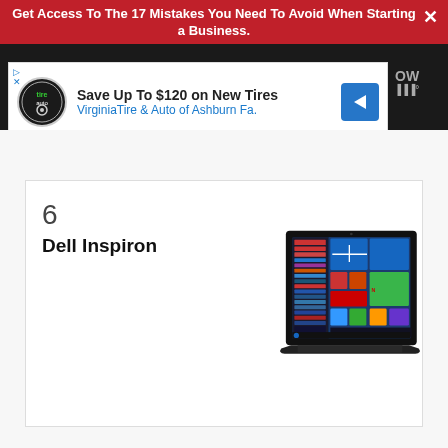Get Access To The 17 Mistakes You Need To Avoid When Starting a Business.
[Figure (screenshot): Advertisement banner: Save Up To $120 on New Tires - VirginiaTire & Auto of Ashburn Fa.]
6   Dell Inspiron
[Figure (photo): Dell Inspiron laptop showing Windows 10 Start menu on screen]